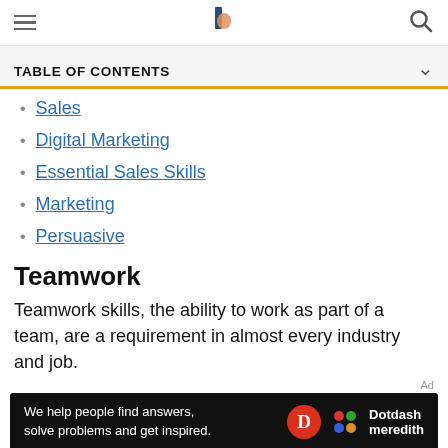TABLE OF CONTENTS (navigation bar with hamburger menu, logo, search icon)
Sales
Digital Marketing
Essential Sales Skills
Marketing
Persuasive
Teamwork
Teamwork skills, the ability to work as part of a team, are a requirement in almost every industry and job.
[Figure (logo): Dotdash Meredith advertisement banner: 'We help people find answers, solve problems and get inspired.']